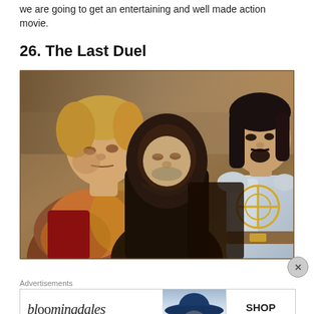we are going to get an entertaining and well made action movie.
26. The Last Duel
[Figure (photo): Three men in medieval costumes: a blond man in fur-trimmed garment on the left, a man in a dark hooded robe in the center, and a man in shining armor with gold chain detail on the right.]
Advertisements
[Figure (screenshot): Bloomingdale's advertisement banner. Text reads: bloomingdales, View Today's Top Deals!, with an image of a woman in a wide-brimmed hat, and a SHOP NOW > button.]